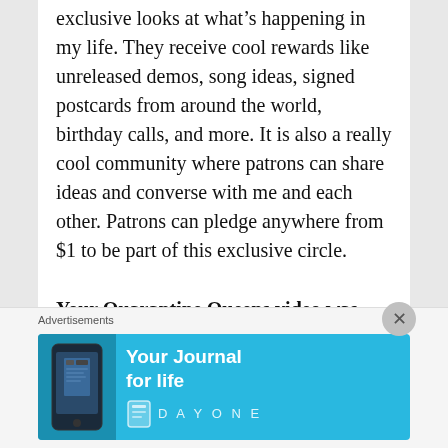exclusive looks at what's happening in my life. They receive cool rewards like unreleased demos, song ideas, signed postcards from around the world, birthday calls, and more. It is also a really cool community where patrons can share ideas and converse with me and each other. Patrons can pledge anywhere from $1 to be part of this exclusive circle.
Your Quarantine Queens video was pretty great. Will the Quarantine Queens be releasing anything else over the next few weeks?
Advertisements
[Figure (infographic): Advertisement banner for Day One journal app. Cyan/blue background with phone image on left and text 'Your Journal for life' with Day One logo on right.]